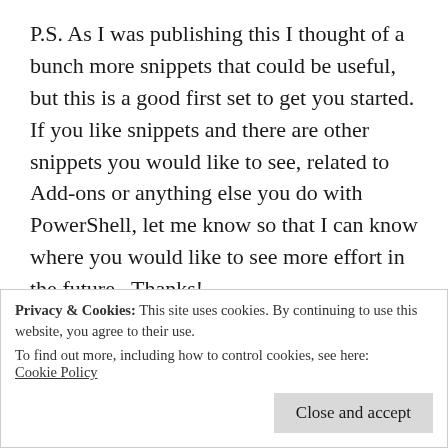P.S. As I was publishing this I thought of a bunch more snippets that could be useful, but this is a good first set to get you started. If you like snippets and there are other snippets you would like to see, related to Add-ons or anything else you do with PowerShell, let me know so that I can know where you would like to see more effort in the future.  Thanks!
Technorati Tags:
PowerShell PoSh Poshoholic PowerGUI PowerG
Privacy & Cookies: This site uses cookies. By continuing to use this website, you agree to their use.
To find out more, including how to control cookies, see here: Cookie Policy